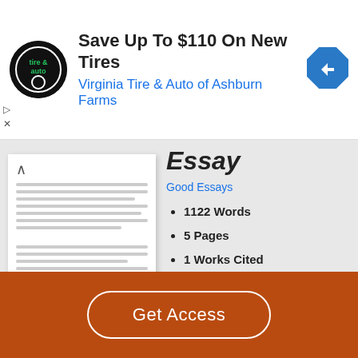[Figure (other): Advertisement banner: Virginia Tire & Auto of Ashburn Farms. Save Up To $110 On New Tires.]
[Figure (other): Document preview thumbnail showing a white paper with horizontal lines and an up-arrow icon.]
Good Essays
1122 Words
5 Pages
1 Works Cited
Open Document
Romance and Reality in Flaubert’s Madame
Get Access